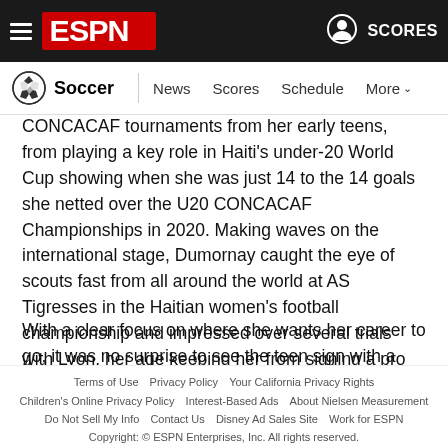[Figure (screenshot): ESPN top navigation bar with hamburger menu, ESPN logo, user icon, and SCORES link]
Soccer  News  Scores  Schedule  More
CONCACAF tournaments from her early teens, from playing a key role in Haiti's under-20 World Cup showing when she was just 14 to the 14 goals she netted over the U20 CONCACAF Championships in 2020. Making waves on the international stage, Dumornay caught the eye of scouts fast from all around the world at AS Tigresses in the Haitian women's football championship and impressed over several trials with Lyon, her age keeping her from signing a pro deal.
With a clear focus on where she wants her career to go, it was no surprise to see the teen sign with a Division 1 Feminine side
Terms of Use   Privacy Policy   Your California Privacy Rights   Children's Online Privacy Policy   Interest-Based Ads   About Nielsen Measurement   Do Not Sell My Info   Contact Us   Disney Ad Sales Site   Work for ESPN   Copyright: © ESPN Enterprises, Inc. All rights reserved.